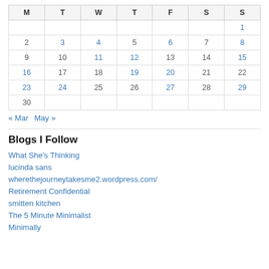| M | T | W | T | F | S | S |
| --- | --- | --- | --- | --- | --- | --- |
|  |  |  |  |  |  | 1 |
| 2 | 3 | 4 | 5 | 6 | 7 | 8 |
| 9 | 10 | 11 | 12 | 13 | 14 | 15 |
| 16 | 17 | 18 | 19 | 20 | 21 | 22 |
| 23 | 24 | 25 | 26 | 27 | 28 | 29 |
| 30 |  |  |  |  |  |  |
« Mar   May »
Blogs I Follow
What She's Thinking
lucinda sans
wherethejourneytakesme2.wordpress.com/
Retirement Confidential
smitten kitchen
The 5 Minute Minimalist
Minimally